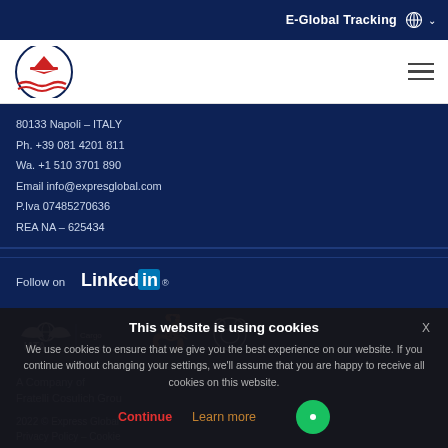E-Global Tracking
[Figure (logo): Express Global company logo — circular emblem with aircraft and waves in red, white, blue]
80133 Napoli – ITALY
Ph. +39 081 4201 811
Wa. +1 510 3701 890
Email info@expresglobal.com
P.Iva 07485270636
REA NA – 625434
Follow on
[Figure (logo): LinkedIn logo]
[Figure (logo): IATA Cargo Agent badge logo, Scorpion logo, and another organization logo]
A Company of
Fratelli Cosulich Grou
This website is using cookies
We use cookies to ensure that we give you the best experience on our website. If you continue without changing your settings, we'll assume that you are happy to receive all cookies on this website.
Continue   Learn more
2022 © Express Global
Privacy Policy – Cookie